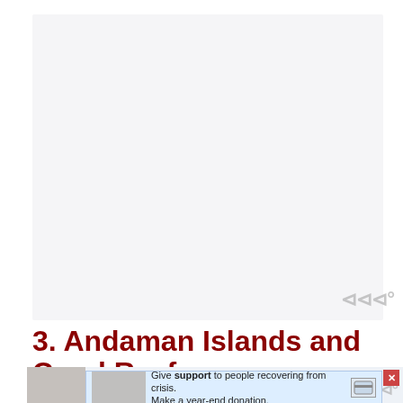[Figure (other): Large blank/white image area occupying the upper portion of the page, consistent with a web article screenshot with image not loaded or a blank placeholder.]
3. Andaman Islands and Coral Reefs
[Figure (other): Bottom strip showing a partial photo of a group of people (family) on the left, and an advertisement banner reading 'Give support to people recovering from crisis. Make a year-end donation.' with a close button (X) and a donation button icon.]